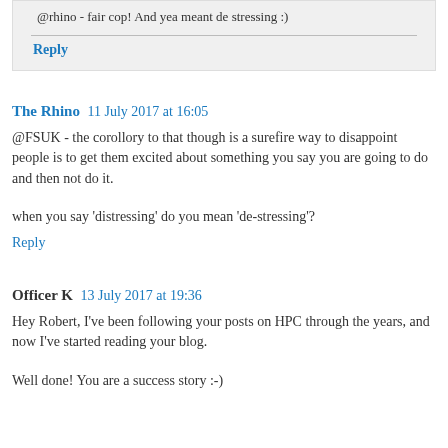@rhino - fair cop! And yea meant de stressing :)
Reply
The Rhino  11 July 2017 at 16:05
@FSUK - the corollory to that though is a surefire way to disappoint people is to get them excited about something you say you are going to do and then not do it.
when you say 'distressing' do you mean 'de-stressing'?
Reply
Officer K  13 July 2017 at 19:36
Hey Robert, I've been following your posts on HPC through the years, and now I've started reading your blog.
Well done! You are a success story :-)